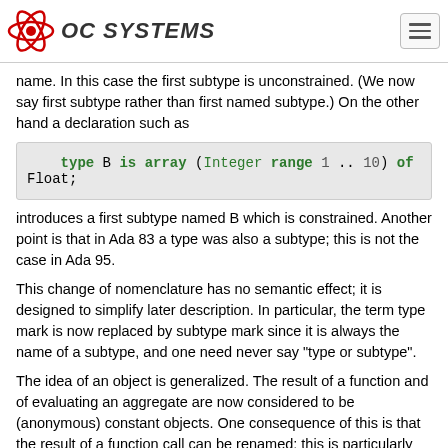OC SYSTEMS
name. In this case the first subtype is unconstrained. (We now say first subtype rather than first named subtype.) On the other hand a declaration such as
[Figure (screenshot): Code block: type B is array (Integer range 1 .. 10) of Float;]
introduces a first subtype named B which is constrained. Another point is that in Ada 83 a type was also a subtype; this is not the case in Ada 95.
This change of nomenclature has no semantic effect; it is designed to simplify later description. In particular, the term type mark is now replaced by subtype mark since it is always the name of a subtype, and one need never say "type or subtype".
The idea of an object is generalized. The result of a function and of evaluating an aggregate are now considered to be (anonymous) constant objects. One consequence of this is that the result of a function call can be renamed; this is particularly useful for limited types, see 7.3. Some things are not objects, for example named numbers are not objects.